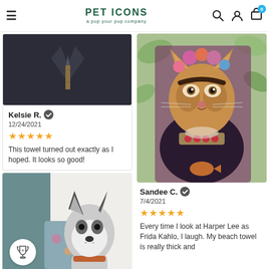PET ICONS a pop your pup company
[Figure (photo): Photo of a dark plaid fabric/towel with a suit collar and tie design]
Kelsie R. ✓
12/24/2021
★★★★★
This towel turned out exactly as I hoped. It looks so good!
[Figure (photo): Photo of a husky dog with a floral beach towel, trophy badge icon overlay]
[Figure (photo): Photo of a cat styled as Frida Kahlo with flowers, black dress, necklace, on a floral background]
Sandee C. ✓
7/4/2021
★★★★★
Every time I look at Harper Lee as Frida Kahlo, I laugh. My beach towel is really thick and